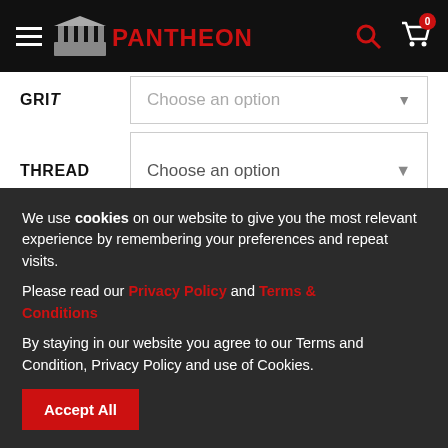PANTHEON
GRIT  Choose an option
THREAD  Choose an option
1   ADD TO CART
We use cookies on our website to give you the most relevant experience by remembering your preferences and repeat visits.
Please read our Privacy Policy and Terms & Conditions
By staying in our website you agree to our Terms and Condition, Privacy Policy and use of Cookies.
Accept All